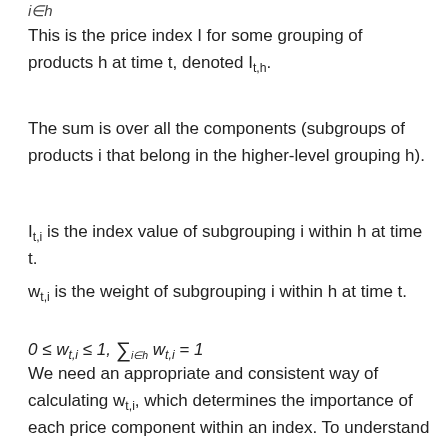This is the price index I for some grouping of products h at time t, denoted I_{t,h}.
The sum is over all the components (subgroups of products i that belong in the higher-level grouping h).
I_{t,i} is the index value of subgrouping i within h at time t.
w_{t,i} is the weight of subgrouping i within h at time t.
We need an appropriate and consistent way of calculating w_{t,i}, which determines the importance of each price component within an index. To understand